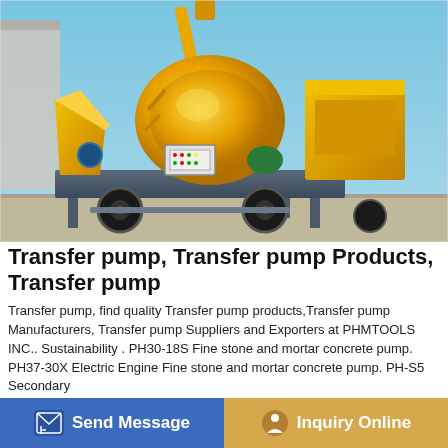[Figure (photo): Yellow concrete transfer pump / mixer machine with large rotating drum, control panel, hopper, wheels, and boom arm, parked on a concrete yard with a clear blue sky background and a building visible on the left.]
Transfer pump, Transfer pump Products, Transfer pump
Transfer pump, find quality Transfer pump products,Transfer pump Manufacturers, Transfer pump Suppliers and Exporters at PHMTOOLS INC.. Sustainability . PH30-18S Fine stone and mortar concrete pump. PH37-30X Electric Engine Fine stone and mortar concrete pump. PH-S5 Secondary